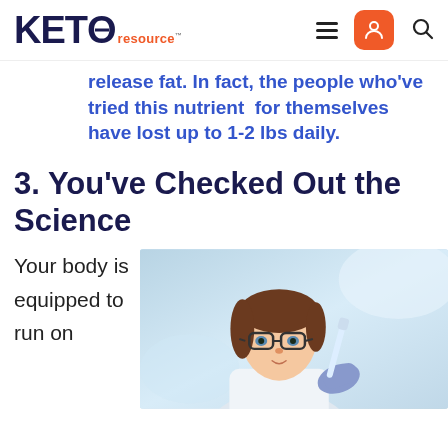KETO resource™ [navigation: hamburger menu, user icon, search icon]
release fat. In fact, the people who've tried this nutrient  for themselves have lost up to 1-2 lbs daily.
3. You've Checked Out the Science
Your body is equipped to run on
[Figure (photo): Female scientist wearing glasses and blue gloves, working in a laboratory, holding a pipette or lab instrument]